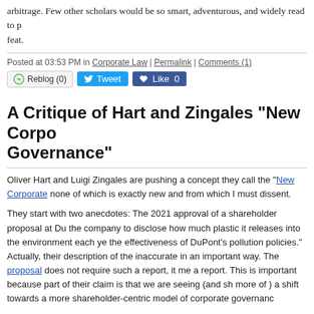arbitrage. Few other scholars would be so smart, adventurous, and widely read to pull off this feat.
Posted at 03:53 PM in Corporate Law | Permalink | Comments (1)
Reblog (0) | Tweet | Like 0
A Critique of Hart and Zingales "New Corporate Governance"
Oliver Hart and Luigi Zingales are pushing a concept they call the "New Corporate Governance," none of which is exactly new and from which I must dissent.
They start with two anecdotes: The 2021 approval of a shareholder proposal at DuPont asking the company to disclose how much plastic it releases into the environment each year to "assess the effectiveness of DuPont's pollution policies." Actually, their description of the proposal is inaccurate in an important way. The proposal does not require such a report, it merely requests a report. This is important because part of their claim is that we are seeing (and should see more of ) a shift towards a more shareholder-centric model of corporate governance.
The other anecdote is the 2021 approval of a shareholder proposal at ExxonMobil asking the company to describe 'if, and how, ExxonMobil's lobbying activities … align with the goal of limiting average global warming to well below 2 degrees Celsius…' Once again, they misdescribe the proposal. In fact, as with Dupont, the actual proposal was a request not a mandate.
Based on these anecdotes, they argue that:
It is hard to explain this behavior using the dominant corporate governance